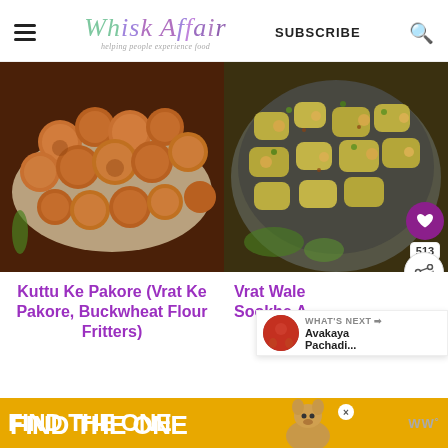Whisk Affair — Helping people experience food — SUBSCRIBE
[Figure (photo): Fried buckwheat flour fritters (Kuttu Ke Pakore) in a dark pan with parchment paper]
[Figure (photo): Vrat Wale Sookhe Aloo dish — dry potato with chickpeas and herbs in a bowl]
Kuttu Ke Pakore (Vrat Ke Pakore, Buckwheat Flour Fritters)
Vrat Wale Sookhe A...
513
WHAT'S NEXT → Avakaya Pachadi...
[Figure (photo): Advertisement banner: FIND THE ONE with a dog image]